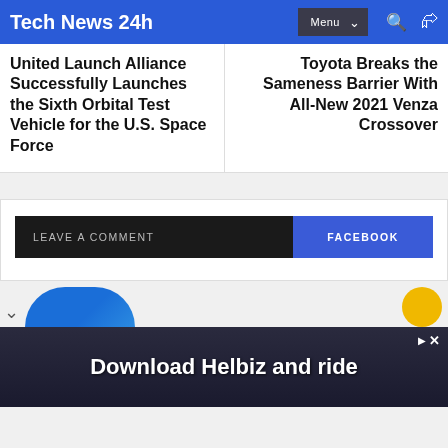Tech News 24h
United Launch Alliance Successfully Launches the Sixth Orbital Test Vehicle for the U.S. Space Force
Toyota Breaks the Sameness Barrier With All-New 2021 Venza Crossover
LEAVE A COMMENT
FACEBOOK
[Figure (screenshot): Advertisement banner: Download Helbiz and ride]
Download Helbiz and ride